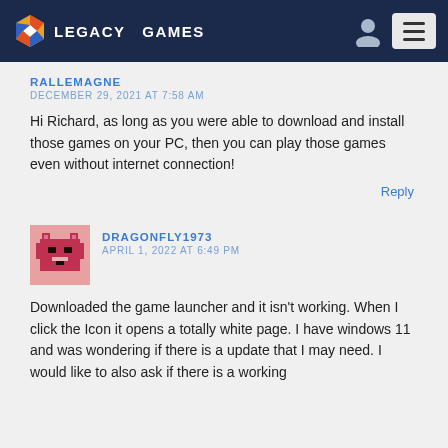[Figure (logo): Legacy Games logo with hexagon icon and white bold text on dark navy header, plus user and menu icons on right]
RALLEMAGNE
DECEMBER 29, 2021 AT 7:58 AM
Hi Richard, as long as you were able to download and install those games on your PC, then you can play those games even without internet connection!
Reply
[Figure (photo): Pixel art avatar of a pink/red bear-like character on a pink background]
DRAGONFLY1973
APRIL 1, 2022 AT 6:49 PM
Downloaded the game launcher and it isn't working. When I click the Icon it opens a totally white page. I have windows 11 and was wondering if there is a update that I may need. I would like to also ask if there is a working